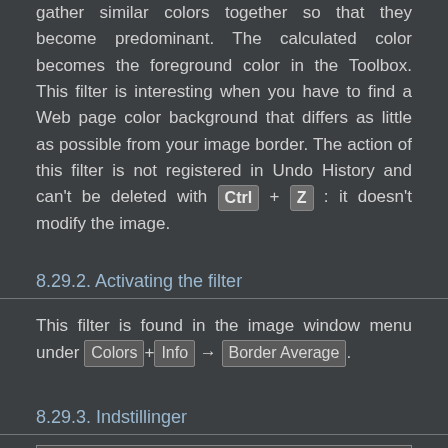gather similar colors together so that they become predominant. The calculated color becomes the foreground color in the Toolbox. This filter is interesting when you have to find a Web page color background that differs as little as possible from your image border. The action of this filter is not registered in Undo History and can't be deleted with Ctrl + Z : it doesn't modify the image.
8.29.2. Activating the filter
This filter is found in the image window menu under Colors+Info → Border Average.
8.29.3. Indstillinger
[Figure (screenshot): Screenshot or settings panel box (partially visible at bottom)]